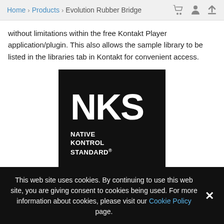Home > Products > Evolution Rubber Bridge
without limitations within the free Kontakt Player application/plugin. This also allows the sample library to be listed in the libraries tab in Kontakt for convenient access.
[Figure (logo): NKS Native Kontrol Standard logo — black square with white bold 'NKS' text and subtitle 'NATIVE KONTROL STANDARD']
Evolution Rubber Bridge is NKS-ready. The integration with the Native Kontrol Standard presents many benefits, both when using the library in the Komplete Kontrol software as well as in conjunction with Komplete Kontrol hardware, such as the Komplete
This web site uses cookies. By continuing to use this web site, you are giving consent to cookies being used. For more information about cookies, please visit our Cookie Policy page.